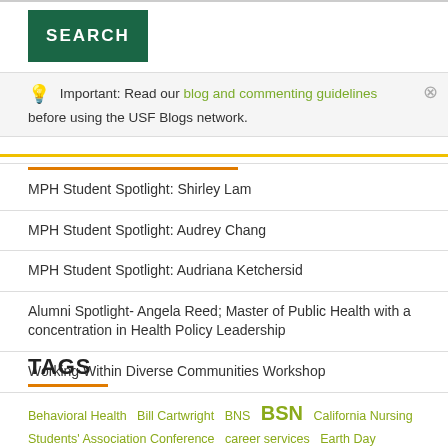[Figure (other): Green SEARCH button]
Important: Read our blog and commenting guidelines before using the USF Blogs network.
MPH Student Spotlight: Shirley Lam
MPH Student Spotlight: Audrey Chang
MPH Student Spotlight: Audriana Ketchersid
Alumni Spotlight- Angela Reed; Master of Public Health with a concentration in Health Policy Leadership
Working Within Diverse Communities Workshop
TAGS
Behavioral Health  Bill Cartwright  BNS  BSN  California Nursing Students' Association Conference  career services  Earth Day  Epidemiology  graduate